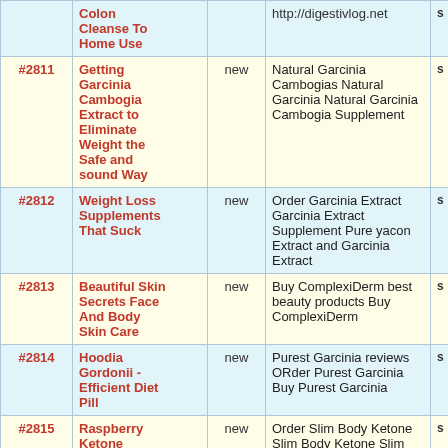| # | Title | Status | Keywords | ... |
| --- | --- | --- | --- | --- |
|  | Colon Cleanse To Home Use |  | http://digestivlog.net | s |
| #2811 | Getting Garcinia Cambogia Extract to Eliminate Weight the Safe and sound Way | new | Natural Garcinia Cambogias Natural Garcinia Natural Garcinia Cambogia Supplement | s |
| #2812 | Weight Loss Supplements That Suck | new | Order Garcinia Extract Garcinia Extract Supplement Pure yacon Extract and Garcinia Extract | s |
| #2813 | Beautiful Skin Secrets Face And Body Skin Care | new | Buy ComplexiDerm best beauty products Buy ComplexiDerm | s |
| #2814 | Hoodia Gordonii - Efficient Diet Pill | new | Purest Garcinia reviews ORder Purest Garcinia Buy Purest Garcinia | s |
| #2815 | Raspberry Ketone Warning: Is These Items Really Safe | new | Order Slim Body Ketone Slim Body Ketone Slim Body ketone Diet | s |
| #2816 | Arm Muscles How Help To | new | xtreme testosterone muscle booster xtreme testosterone | s |